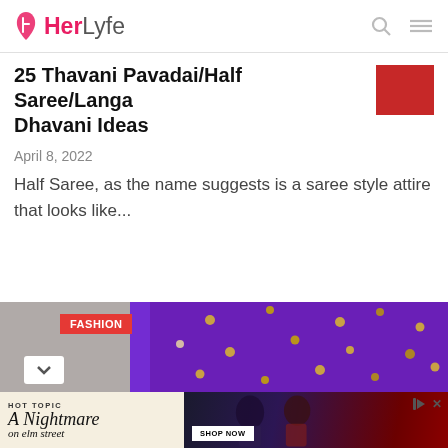HerLyfe
25 Thavani Pavadai/Half Saree/Langa Dhavani Ideas
April 8, 2022
Half Saree, as the name suggests is a saree style attire that looks like...
[Figure (photo): Partial view of purple embroidered fabric with decorative pearl-like embellishments; FASHION label overlay]
[Figure (photo): Advertisement for Hot Topic: A Nightmare on Elm Street - Shop Now, featuring two people in dark clothing]